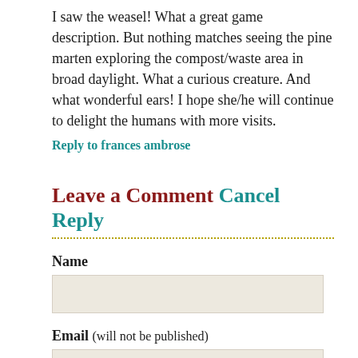I saw the weasel! What a great game description. But nothing matches seeing the pine marten exploring the compost/waste area in broad daylight. What a curious creature. And what wonderful ears! I hope she/he will continue to delight the humans with more visits.
Reply to frances ambrose
Leave a Comment Cancel Reply
Name
Email (will not be published)